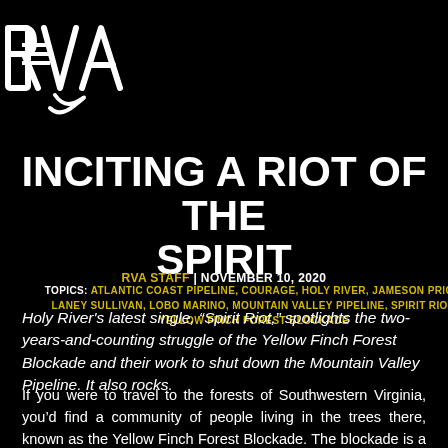RVA (logo)
INCITING A RIOT OF THE SPIRIT
RVA STAFF | NOVEMBER 10, 2020
TOPICS: ATLANTIC COAST PIPELINE, COURAGE, HOLY RIVER, JAMESON PRICE, LANEY SULLIVAN, LOBO MARINO, MOUNTAIN VALLEY PIPELINE, SPIRIT RIOT, YELLOW FINCH FOREST BLOCKADE
Holy River's latest single, “Spirit Riot,” spotlights the two-years-and-counting struggle of the Yellow Finch Forest Blockade and their work to shut down the Mountain Valley Pipeline. It also rocks.
If you were to travel to the forests of Southwestern Virginia, you’d find a community of people living in the trees there, known as the Yellow Finch Forest Blockade. The blockade is a community of environmental activists fighting against the construction of the Mountain Valley